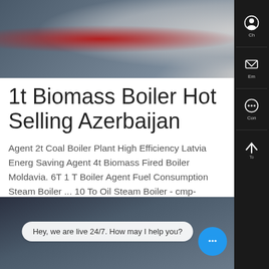[Figure (photo): Industrial boiler equipment with metal pipes and machinery in a factory setting]
1t Biomass Boiler Hot Selling Azerbaijan
Agent 2t Coal Boiler Plant High Efficiency Latvia Energy Saving Agent 4t Biomass Fired Boiler Moldavia. 6T 1 T Boiler Agent Fuel Consumption Steam Boiler ... 10 To Oil Steam Boiler - cmp-h.org.uk. WNS 1t 2t 3t 4t 6t 8t 10t natural gas light diesel oil fired steam boiler . sma machine for small industries packaged gas boiler, ligh
[Figure (screenshot): Learn More button (blue), WhatsApp icon, Contact us now! button (green)]
[Figure (photo): Industrial warehouse interior with structural steel ceiling, viewed from below]
Hey, we are live 24/7. How may I help you?